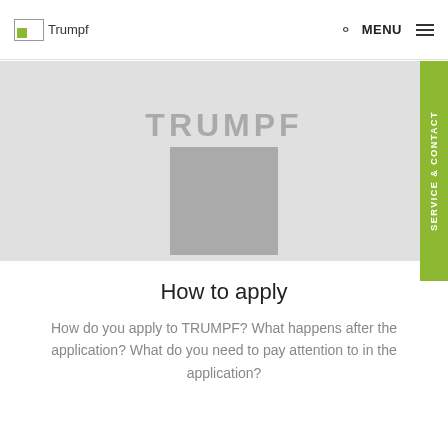Trumpf | MENU
[Figure (logo): Trumpf company logo with green square element and 'Trumpf' text]
[Figure (illustration): Gray hero banner with TRUMPF logo text and gray square placeholder image; green SERVICE & CONTACT side tab on right]
How to apply
How do you apply to TRUMPF? What happens after the application? What do you need to pay attention to in the application?